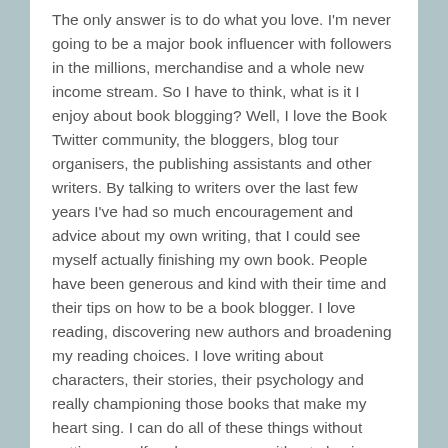The only answer is to do what you love. I'm never going to be a major book influencer with followers in the millions, merchandise and a whole new income stream. So I have to think, what is it I enjoy about book blogging? Well, I love the Book Twitter community, the bloggers, blog tour organisers, the publishing assistants and other writers. By talking to writers over the last few years I've had so much encouragement and advice about my own writing, that I could see myself actually finishing my own book. People have been generous and kind with their time and their tips on how to be a book blogger. I love reading, discovering new authors and broadening my reading choices. I love writing about characters, their stories, their psychology and really championing those books that make my heart sing. I can do all of these things without putting myself under pressure, without chasing every new book, without joining every